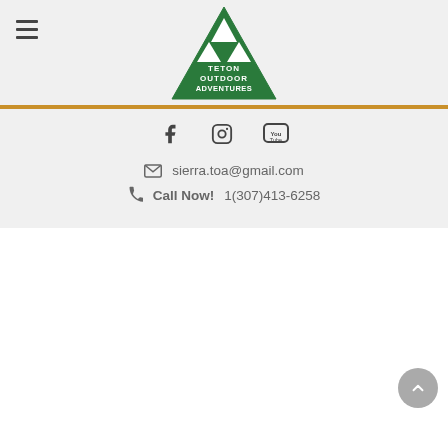[Figure (logo): Teton Outdoor Adventures logo — green triangle with mountain peaks and white text reading TETON OUTDOOR ADVENTURES]
[Figure (infographic): Social media icons: Facebook, Instagram, YouTube]
sierra.toa@gmail.com
Call Now! 1(307)413-6258